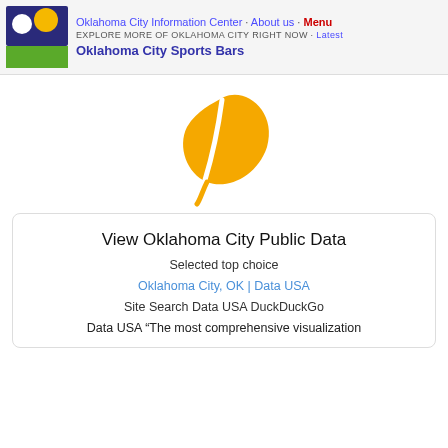Oklahoma City Information Center · About us · Menu | EXPLORE MORE OF OKLAHOMA CITY RIGHT NOW · Latest | Oklahoma City Sports Bars
[Figure (logo): Orange leaf icon on white background, representing the site's brand symbol]
View Oklahoma City Public Data
Selected top choice
Oklahoma City, OK | Data USA
Site Search Data USA DuckDuckGo
Data USA "The most comprehensive visualization